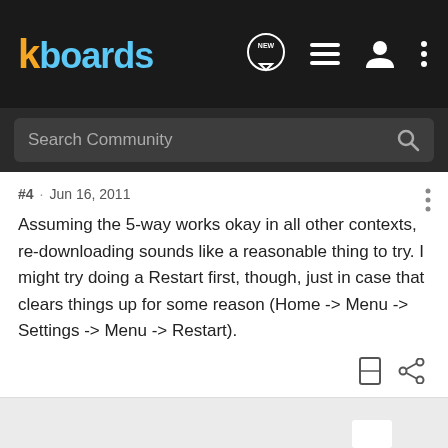kboards
Search Community
#4 · Jun 16, 2011
Assuming the 5-way works okay in all other contexts, re-downloading sounds like a reasonable thing to try. I might try doing a Restart first, though, just in case that clears things up for some reason (Home -> Menu -> Settings -> Menu -> Restart).